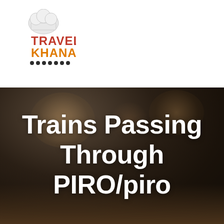[Figure (logo): Travel Khana logo with chef hat icon, red and orange text, and row of dots]
[Figure (photo): Dark blurred bokeh background photo, warm brown and black tones, resembling a dimly lit restaurant or cafe setting]
Trains Passing Through PIRO/piro